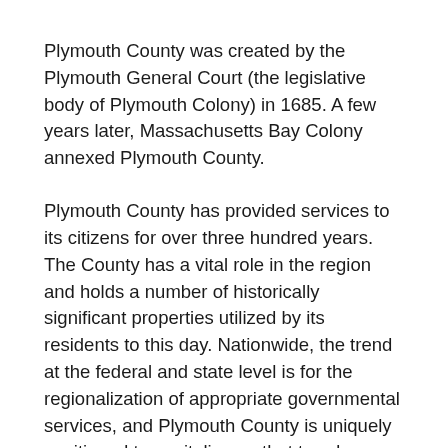Plymouth County was created by the Plymouth General Court (the legislative body of Plymouth Colony) in 1685. A few years later, Massachusetts Bay Colony annexed Plymouth County.
Plymouth County has provided services to its citizens for over three hundred years. The County has a vital role in the region and holds a number of historically significant properties utilized by its residents to this day. Nationwide, the trend at the federal and state level is for the regionalization of appropriate governmental services, and Plymouth County is uniquely positioned to capitalize on that trend.
Plymouth County has no charter and as such operates under a combination of the Massachusetts General Laws, special acts of the Legislature, by